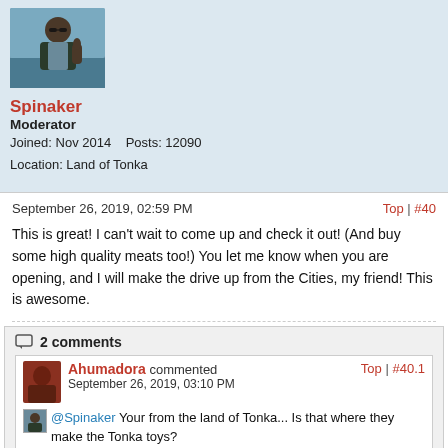[Figure (photo): Profile avatar photo of user Spinaker - man with sunglasses giving thumbs up outdoors]
Spinaker
Moderator
Joined: Nov 2014    Posts: 12090
Location: Land of Tonka
September 26, 2019, 02:59 PM
Top | #40
This is great! I can't wait to come up and check it out! (And buy some high quality meats too!) You let me know when you are opening, and I will make the drive up from the Cities, my friend! This is awesome.
2 comments
Ahumadora commented
September 26, 2019, 03:10 PM
Top | #40.1
@Spinaker Your from the land of Tonka... Is that where they make the Tonka toys?